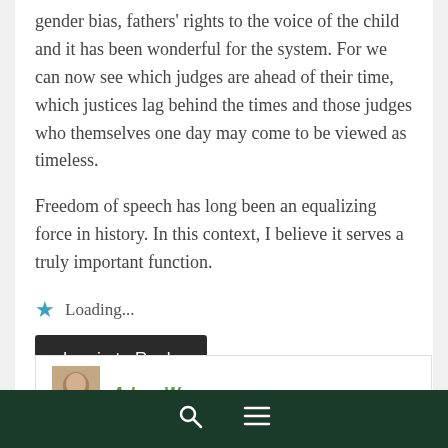gender bias, fathers' rights to the voice of the child and it has been wonderful for the system. For we can now see which judges are ahead of their time, which justices lag behind the times and those judges who themselves one day may come to be viewed as timeless.
Freedom of speech has long been an equalizing force in history. In this context, I believe it serves a truly important function.
★ Loading...
Log in to Reply
Adam Wagner says:
Thanks Natasha – that is a very